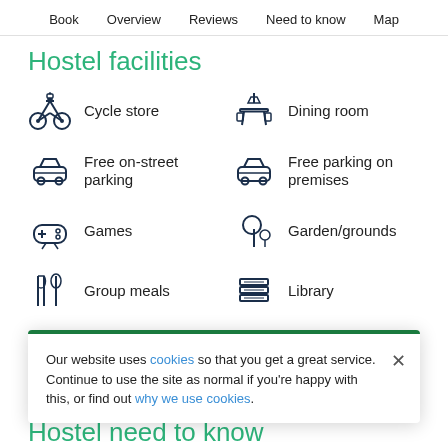Book   Overview   Reviews   Need to know   Map
Hostel facilities
Cycle store
Dining room
Free on-street parking
Free parking on premises
Games
Garden/grounds
Group meals
Library
Our website uses cookies so that you get a great service. Continue to use the site as normal if you're happy with this, or find out why we use cookies.
Hostel need to know